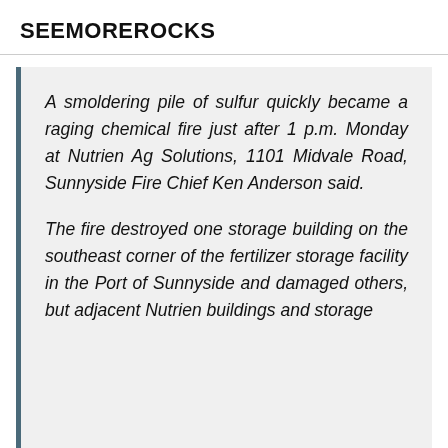SEEMOREROCKS
A smoldering pile of sulfur quickly became a raging chemical fire just after 1 p.m. Monday at Nutrien Ag Solutions, 1101 Midvale Road, Sunnyside Fire Chief Ken Anderson said.
The fire destroyed one storage building on the southeast corner of the fertilizer storage facility in the Port of Sunnyside and damaged others, but adjacent Nutrien buildings and storage